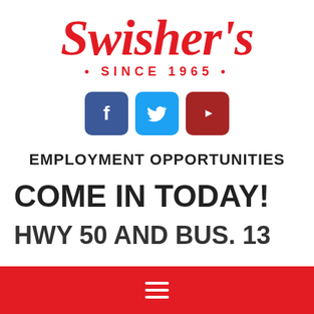[Figure (logo): Swisher's logo in red italic script font with 'SINCE 1965' below in red capital letters with bullet points]
[Figure (infographic): Three social media icons: Facebook (blue), Twitter (light blue), YouTube (dark red) as rounded square buttons with white icons]
EMPLOYMENT OPPORTUNITIES
COME IN TODAY!
HWY 50 AND BUS. 13
[Figure (other): Red footer bar with white hamburger menu icon (three horizontal lines)]